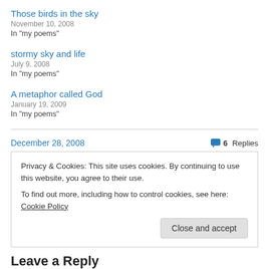Those birds in the sky
November 10, 2008
In "my poems"
stormy sky and life
July 9, 2008
In "my poems"
A metaphor called God
January 19, 2009
In "my poems"
December 28, 2008
6 Replies
Privacy & Cookies: This site uses cookies. By continuing to use this website, you agree to their use.
To find out more, including how to control cookies, see here: Cookie Policy
Close and accept
Leave a Reply